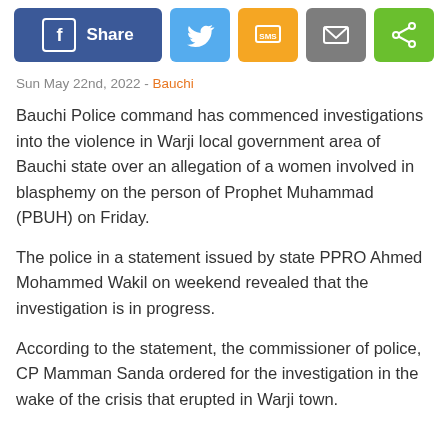[Figure (other): Social media sharing buttons: Facebook Share, Twitter, SMS, Email, and generic share icon]
Sun May 22nd, 2022 - Bauchi
Bauchi Police command has commenced investigations into the violence in Warji local government area of Bauchi state over an allegation of a women involved in blasphemy on the person of Prophet Muhammad (PBUH) on Friday.
The police in a statement issued by state PPRO Ahmed Mohammed Wakil on weekend revealed that the investigation is in progress.
According to the statement, the commissioner of police, CP Mamman Sanda ordered for the investigation in the wake of the crisis that erupted in Warji town.